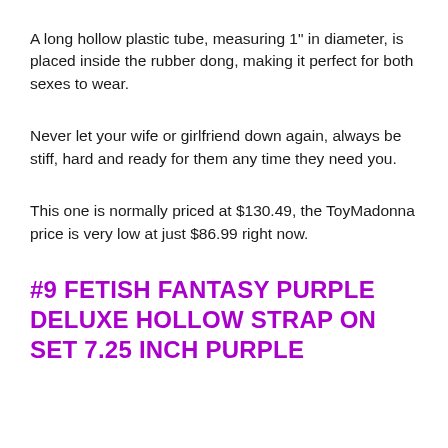A long hollow plastic tube, measuring 1" in diameter, is placed inside the rubber dong, making it perfect for both sexes to wear.
Never let your wife or girlfriend down again, always be stiff, hard and ready for them any time they need you.
This one is normally priced at $130.49, the ToyMadonna price is very low at just $86.99 right now.
#9 FETISH FANTASY PURPLE DELUXE HOLLOW STRAP ON SET 7.25 INCH PURPLE